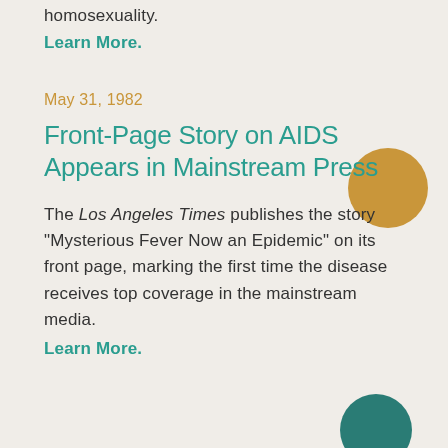homosexuality.
Learn More.
May 31, 1982
Front-Page Story on AIDS Appears in Mainstream Press
The Los Angeles Times publishes the story “Mysterious Fever Now an Epidemic” on its front page, marking the first time the disease receives top coverage in the mainstream media.
Learn More.